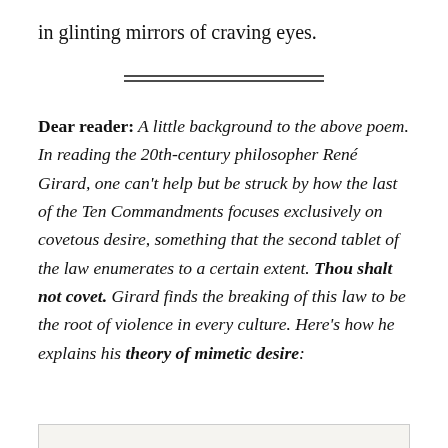in glinting mirrors of craving eyes.
[Figure (other): Double horizontal rule divider]
Dear reader: A little background to the above poem. In reading the 20th-century philosopher René Girard, one can't help but be struck by how the last of the Ten Commandments focuses exclusively on covetous desire, something that the second tablet of the law enumerates to a certain extent. Thou shalt not covet. Girard finds the breaking of this law to be the root of violence in every culture. Here's how he explains his theory of mimetic desire: